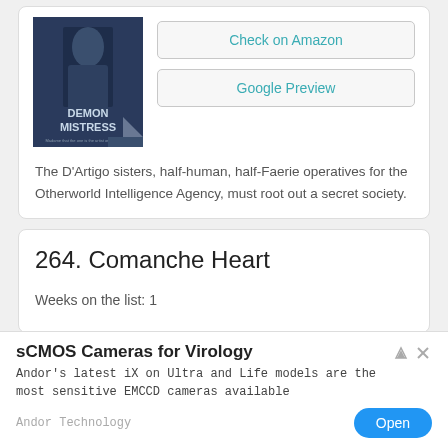[Figure (illustration): Book cover of 'Demon Mistress' with dark background and figure]
Check on Amazon
Google Preview
The D'Artigo sisters, half-human, half-Faerie operatives for the Otherworld Intelligence Agency, must root out a secret society.
264. Comanche Heart
Weeks on the list: 1
sCMOS Cameras for Virology
Andor's latest iX on Ultra and Life models are the most sensitive EMCCD cameras available
Andor Technology
Open